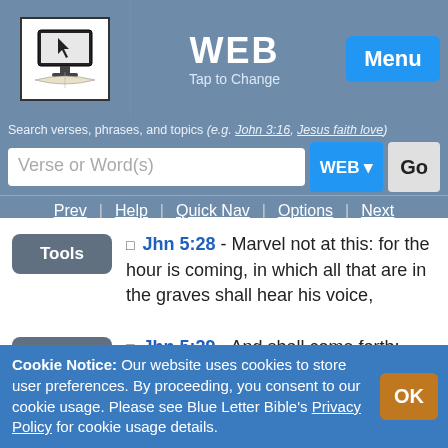WEB
Tap to Change
Menu
Search verses, phrases, and topics (e.g. John 3:16, Jesus faith love)
Verse or Word(s)   WEB   Go
Prev | Help | Quick Nav | Options | Next
Jhn 5:28 - Marvel not at this: for the hour is coming, in which all that are in the graves shall hear his voice,
Jhn 5:29 - And shall come forth; they that have done good to the resurrection of life; and they that have done evil, to the
Cookie Notice: Our website uses cookies to store user preferences. By proceeding, you consent to our cookie usage. Please see Blue Letter Bible's Privacy Policy for cookie usage details.